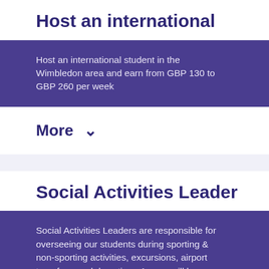Host an international
Host an international student in the Wimbledon area and earn from GBP 130 to GBP 260 per week
More ˅
Social Activities Leader
Social Activities Leaders are responsible for overseeing our students during sporting & non-sporting activities, excursions, airport transfers, and downtime. As you will be working with minors, you will